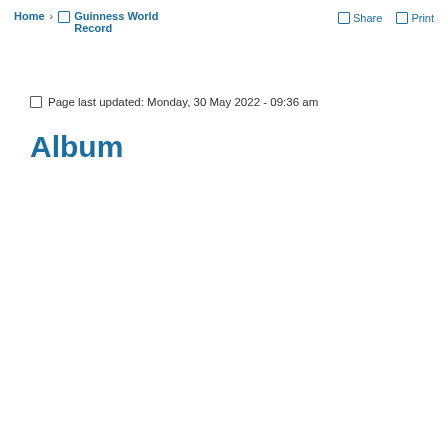Home › Guinness World Record | Share | Print
🔲 Page last updated: Monday, 30 May 2022 - 09:36 am
Album